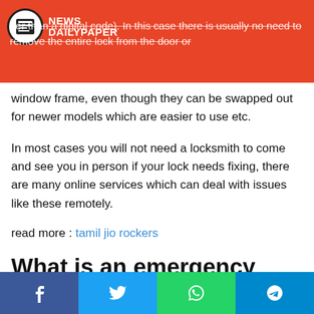[Figure (logo): News Daily Paper logo with newspaper icon on red header background]
ner than a digital code). In this case there is usually no need to remove the entire lock from the door or window frame, even though they can be swapped out for newer models which are easier to use etc.
In most cases you will not need a locksmith to come and see you in person if your lock needs fixing, there are many online services which can deal with issues like these remotely.
read more : tamil jio rockers
What is an emergency locksmith?
An emergency locksmith (or 24-hour locksmith) is actually
Facebook | Twitter | WhatsApp | Telegram